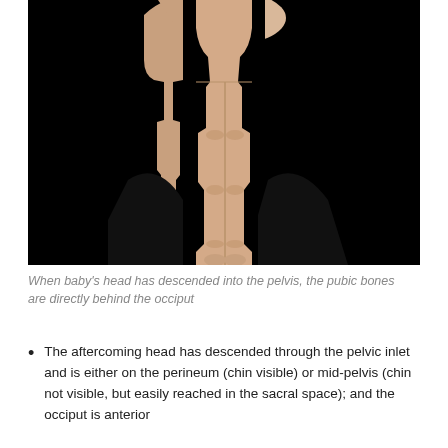[Figure (photo): Medical model/mannequin showing a baby in breech position with legs extending downward against a black background, demonstrating fetal descent into the pelvis with pubic bones visible.]
When baby's head has descended into the pelvis, the pubic bones are directly behind the occiput
The aftercoming head has descended through the pelvic inlet and is either on the perineum (chin visible) or mid-pelvis (chin not visible, but easily reached in the sacral space); and the occiput is anterior